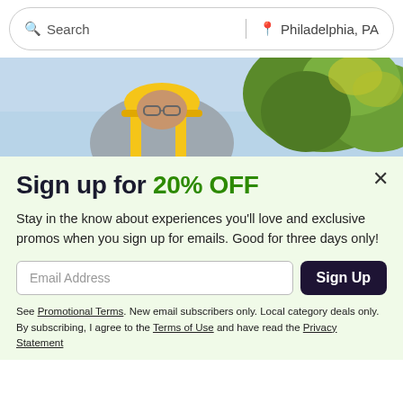Search | Philadelphia, PA
[Figure (photo): Construction worker wearing yellow hard hat and safety vest, bending over work, with green trees in background]
Sign up for 20% OFF
Stay in the know about experiences you'll love and exclusive promos when you sign up for emails. Good for three days only!
Email Address [input] Sign Up [button]
See Promotional Terms. New email subscribers only. Local category deals only. By subscribing, I agree to the Terms of Use and have read the Privacy Statement